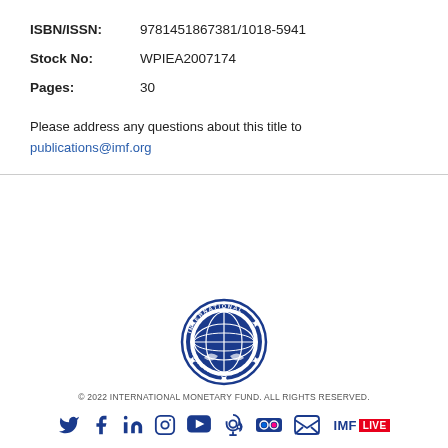ISBN/ISSN: 9781451867381/1018-5941
Stock No: WPIEA2007174
Pages: 30
Please address any questions about this title to publications@imf.org
[Figure (logo): International Monetary Fund circular seal logo in blue]
© 2022 INTERNATIONAL MONETARY FUND. ALL RIGHTS RESERVED.
[Figure (other): Social media icons row: Twitter, Facebook, LinkedIn, Instagram, YouTube, Podcast, Flickr, Email, and IMF LIVE badge]